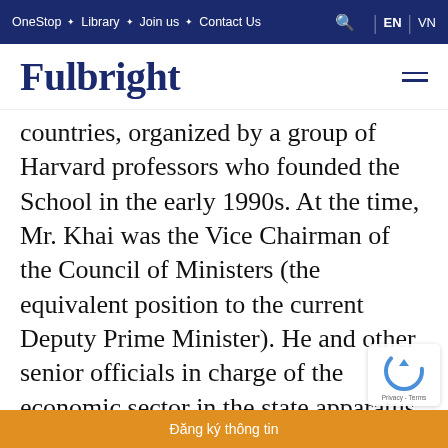OneStop · Library · Join us · Contact Us | EN | VN
Fulbright
countries, organized by a group of Harvard professors who founded the School in the early 1990s. At the time, Mr. Khai was the Vice Chairman of the Council of Ministers (the equivalent position to the current Deputy Prime Minister). He and other senior officials in charge of the economic sector in the state apparatus then learned methodically for the first time the core pillars of the market economy – from supply and demand, pri exchange rates, to the import-export mechanism – conce
Đăng ký thông tin